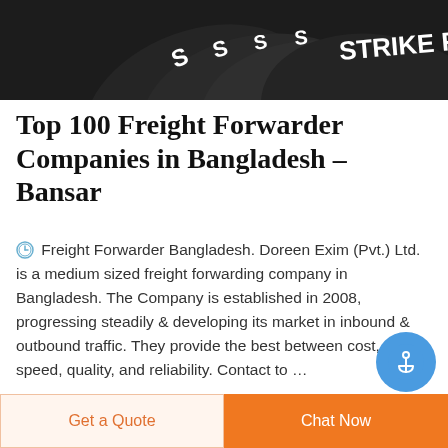[Figure (photo): Dark black background with white letter 'S' markings and partial text 'STRIKE FA' visible on what appears to be paddle or fan-like objects]
Top 100 Freight Forwarder Companies in Bangladesh - Bansar
Freight Forwarder Bangladesh. Doreen Exim (Pvt.) Ltd. is a medium sized freight forwarding company in Bangladesh. The Company is established in 2008, progressing steadily & developing its market in inbound & outbound traffic. They provide the best between cost, speed, quality, and reliability. Contact to …
[Figure (logo): Circular logo with green camouflage pattern and red letter D in the center, with partial red text DEEKON below]
Get a Quote
Chat Now